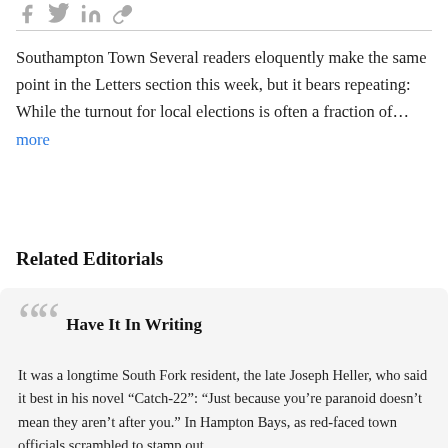[Figure (other): Social media sharing icons (Facebook, Twitter, LinkedIn, and another icon) in gray]
Southampton Town Several readers eloquently make the same point in the Letters section this week, but it bears repeating: While the turnout for local elections is often a fraction of… more
Related Editorials
Have It In Writing
It was a longtime South Fork resident, the late Joseph Heller, who said it best in his novel “Catch-22”: “Just because you’re paranoid doesn’t mean they aren’t after you.” In Hampton Bays, as red-faced town officials scrambled to stamp out…
By Editorial Board